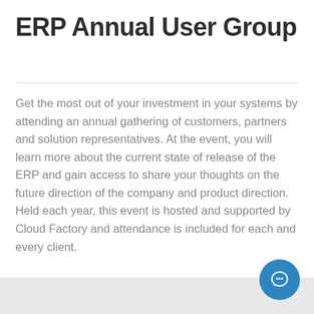ERP Annual User Group
Get the most out of your investment in your systems by attending an annual gathering of customers, partners and solution representatives. At the event, you will learn more about the current state of release of the ERP and gain access to share your thoughts on the future direction of the company and product direction. Held each year, this event is hosted and supported by Cloud Factory and attendance is included for each and every client.
[Figure (illustration): Blue circular chat/message button icon in bottom-right corner]